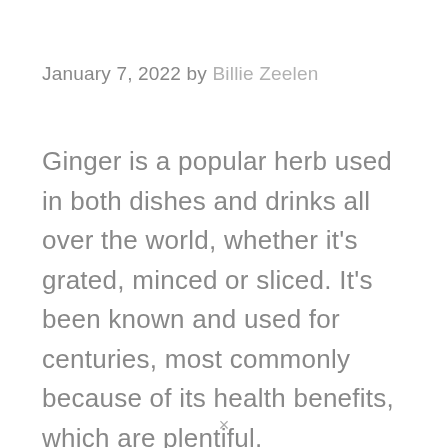January 7, 2022 by Billie Zeelen
Ginger is a popular herb used in both dishes and drinks all over the world, whether it's grated, minced or sliced. It's been known and used for centuries, most commonly because of its health benefits, which are plentiful.